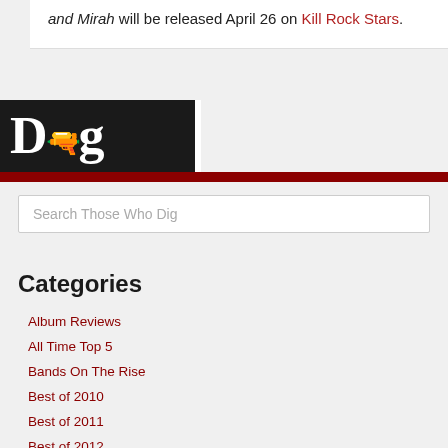and Mirah will be released April 26 on Kill Rock Stars.
[Figure (logo): Those Who Dig website logo — white text on black background with stylized 'Dig' lettering]
Search Those Who Dig
Categories
Album Reviews
All Time Top 5
Bands On The Rise
Best of 2010
Best of 2011
Best of 2012
Best of 2013
Better Know a Composer